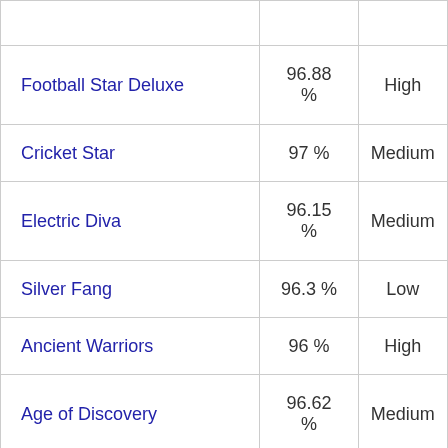| Game | RTP | Variance |
| --- | --- | --- |
| Football Star Deluxe | 96.88 % | High |
| Cricket Star | 97 % | Medium |
| Electric Diva | 96.15 % | Medium |
| Silver Fang | 96.3 % | Low |
| Ancient Warriors | 96 % | High |
| Age of Discovery | 96.62 % | Medium |
| Deco Diamonds | 96.03 % | High |
| Highlander | 96.4 % | Medium |
| Rabbit in the Hat... | 96.01... | Medi... |